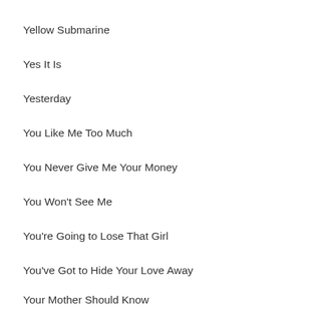Yellow Submarine
Yes It Is
Yesterday
You Like Me Too Much
You Never Give Me Your Money
You Won't See Me
You're Going to Lose That Girl
You've Got to Hide Your Love Away
Your Mother Should Know